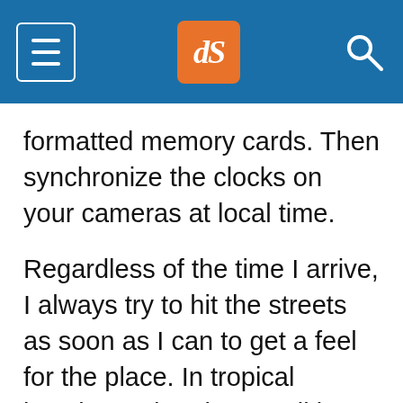dPS [logo] navigation header
formatted memory cards. Then synchronize the clocks on your cameras at local time.
Regardless of the time I arrive, I always try to hit the streets as soon as I can to get a feel for the place. In tropical locations, shooting conditions are not always ideal during the middle of the day when it’s very bright with the sun overhead. It’s still possible, however, to look for opportunities to keep shooting. On a recent trip to Indonesia, I found the most beautiful light in a semi-covere